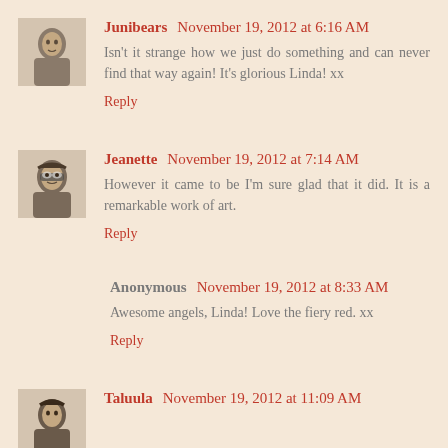Junibears November 19, 2012 at 6:16 AM
Isn't it strange how we just do something and can never find that way again! It's glorious Linda! xx
Reply
Jeanette November 19, 2012 at 7:14 AM
However it came to be I'm sure glad that it did. It is a remarkable work of art.
Reply
Anonymous November 19, 2012 at 8:33 AM
Awesome angels, Linda! Love the fiery red. xx
Reply
Taluula November 19, 2012 at 11:09 AM